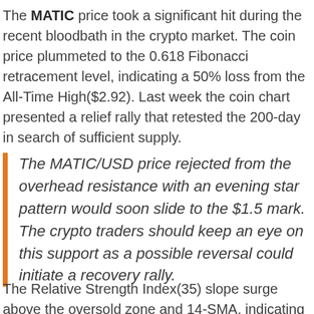The MATIC price took a significant hit during the recent bloodbath in the crypto market. The coin price plummeted to the 0.618 Fibonacci retracement level, indicating a 50% loss from the All-Time High($2.92). Last week the coin chart presented a relief rally that retested the 200-day in search of sufficient supply.
The MATIC/USD price rejected from the overhead resistance with an evening star pattern would soon slide to the $1.5 mark. The crypto traders should keep an eye on this support as a possible reversal could initiate a recovery rally.
The Relative Strength Index(35) slope surge above the oversold zone and 14-SMA, indicating buyers are building